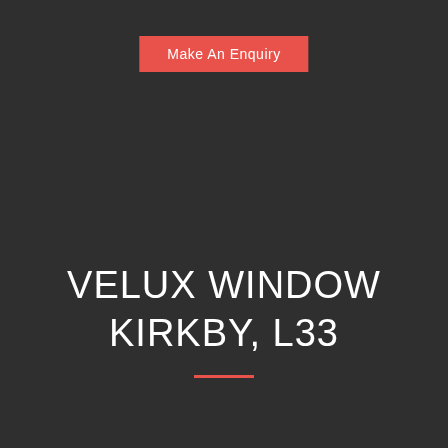Make An Enquiry
VELUX WINDOW KIRKBY, L33